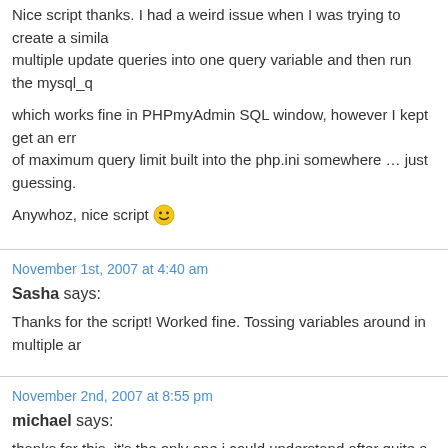Nice script thanks. I had a weird issue when I was trying to create a similar multiple update queries into one query variable and then run the mysql_q
which works fine in PHPmyAdmin SQL window, however I kept get an error of maximum query limit built into the php.ini somewhere … just guessing.
Anywhoz, nice script 😀
November 1st, 2007 at 4:40 am
Sasha says:
Thanks for the script! Worked fine. Tossing variables around in multiple ar
November 2nd, 2007 at 8:55 pm
michael says:
thanks for this, it's the only one i could understand after quite a few hours
works great